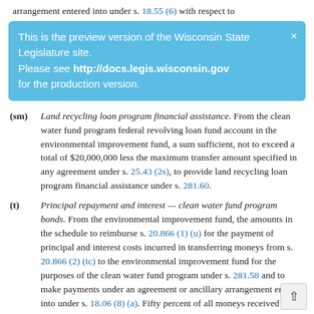arrangement entered into under s. 18.55 (6) with respect to
This is the preview version of the Wisconsin State Legislature site. Please see http://docs.legis.wisconsin.gov for the production version.
(sm) Land recycling loan program financial assistance. From the clean water fund program federal revolving loan fund account in the environmental improvement fund, a sum sufficient, not to exceed a total of $20,000,000 less the maximum transfer amount specified in any agreement under s. 25.43 (2s), to provide land recycling loan program financial assistance under s. 281.60.
(t) Principal repayment and interest — clean water fund program bonds. From the environmental improvement fund, the amounts in the schedule to reimburse s. 20.866 (1) (u) for the payment of principal and interest costs incurred in transferring moneys from s. 20.866 (2) (tc) to the environmental improvement fund for the purposes of the clean water fund program under s. 281.58 and to make payments under an agreement or ancillary arrangement entered into under s. 18.06 (8) (a). Fifty percent of all moneys received from municipalities as payment of interest on loans or portions of loans under s. 281.58 the revenues of which have not been pledged to secure revenue obligations shall be credited to this appropriation account.